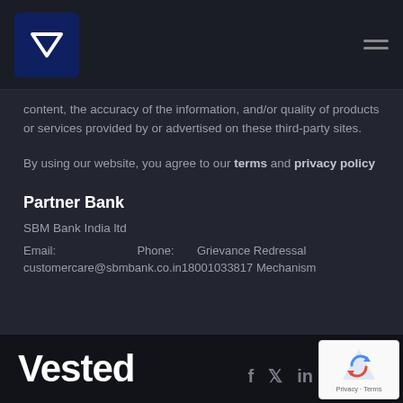Vested logo and navigation header
content, the accuracy of the information, and/or quality of products or services provided by or advertised on these third-party sites.
By using our website, you agree to our terms and privacy policy
Partner Bank
SBM Bank India ltd
Email: customercare@sbmbank.co.in  Phone: 18001033817  Grievance Redressal Mechanism
Vested  f  twitter  in  (reCAPTCHA Privacy - Terms)